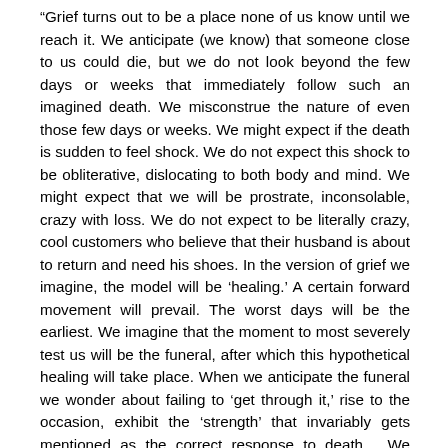“Grief turns out to be a place none of us know until we reach it. We anticipate (we know) that someone close to us could die, but we do not look beyond the few days or weeks that immediately follow such an imagined death. We misconstrue the nature of even those few days or weeks. We might expect if the death is sudden to feel shock. We do not expect this shock to be obliterative, dislocating to both body and mind. We might expect that we will be prostrate, inconsolable, crazy with loss. We do not expect to be literally crazy, cool customers who believe that their husband is about to return and need his shoes. In the version of grief we imagine, the model will be ‘healing.’ A certain forward movement will prevail. The worst days will be the earliest. We imagine that the moment to most severely test us will be the funeral, after which this hypothetical healing will take place. When we anticipate the funeral we wonder about failing to ‘get through it,’ rise to the occasion, exhibit the ‘strength’ that invariably gets mentioned as the correct response to death… We have no way of knowing that the funeral itself will be anodyne, a kind of narcotic regression in which we are wrapped in the care of others and the gravity and meaning of the occasion. Nor can we know ahead of the fact (and here lies